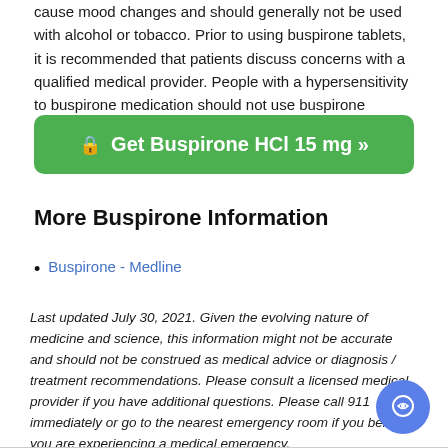cause mood changes and should generally not be used with alcohol or tobacco. Prior to using buspirone tablets, it is recommended that patients discuss concerns with a qualified medical provider. People with a hypersensitivity to buspirone medication should not use buspirone prescription medication.
[Figure (other): Green rounded button with lock icon reading 'Get Buspirone HCl 15 mg »']
More Buspirone Information
Buspirone - Medline
Last updated July 30, 2021. Given the evolving nature of medicine and science, this information might not be accurate and should not be construed as medical advice or diagnosis / treatment recommendations. Please consult a licensed medical provider if you have additional questions. Please call 911 immediately or go to the nearest emergency room if you believe you are experiencing a medical emergency.